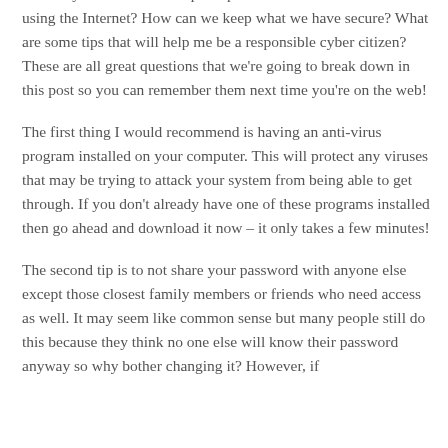these days. How do we keep our personal information safe while using the Internet? How can we keep what we have secure? What are some tips that will help me be a responsible cyber citizen? These are all great questions that we're going to break down in this post so you can remember them next time you're on the web!
The first thing I would recommend is having an anti-virus program installed on your computer. This will protect any viruses that may be trying to attack your system from being able to get through. If you don't already have one of these programs installed then go ahead and download it now – it only takes a few minutes!
The second tip is to not share your password with anyone else except those closest family members or friends who need access as well. It may seem like common sense but many people still do this because they think no one else will know their password anyway so why bother changing it? However, if